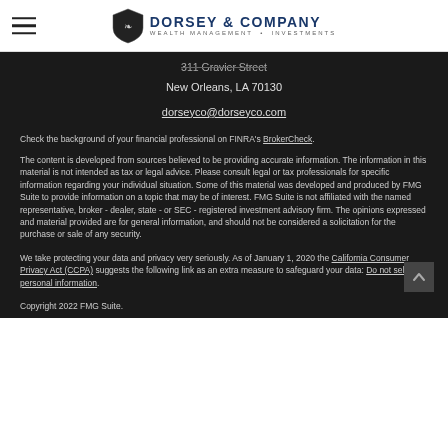Dorsey & Company Wealth Management · Investments
311 Gravier Street
New Orleans, LA 70130

dorseyco@dorseyco.com
Check the background of your financial professional on FINRA's BrokerCheck.
The content is developed from sources believed to be providing accurate information. The information in this material is not intended as tax or legal advice. Please consult legal or tax professionals for specific information regarding your individual situation. Some of this material was developed and produced by FMG Suite to provide information on a topic that may be of interest. FMG Suite is not affiliated with the named representative, broker - dealer, state - or SEC - registered investment advisory firm. The opinions expressed and material provided are for general information, and should not be considered a solicitation for the purchase or sale of any security.
We take protecting your data and privacy very seriously. As of January 1, 2020 the California Consumer Privacy Act (CCPA) suggests the following link as an extra measure to safeguard your data: Do not sell my personal information.
Copyright 2022 FMG Suite.